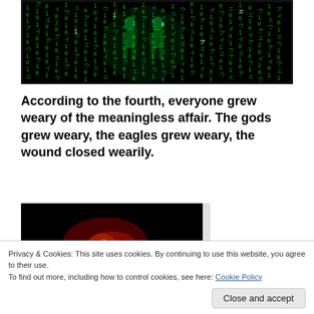[Figure (photo): Matrix-style green digital rain with glowing human figures silhouetted against cascading green code characters on a black background]
According to the fourth, everyone grew weary of the meaningless affair. The gods grew weary, the eagles grew weary, the wound closed wearily.
[Figure (photo): Dark image with red glowing light or fire on black background]
Privacy & Cookies: This site uses cookies. By continuing to use this website, you agree to their use.
To find out more, including how to control cookies, see here: Cookie Policy